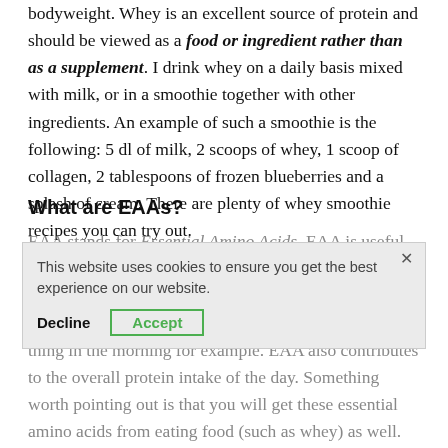bodyweight. Whey is an excellent source of protein and should be viewed as a food or ingredient rather than as a supplement. I drink whey on a daily basis mixed with milk, or in a smoothie together with other ingredients. An example of such a smoothie is the following: 5 dl of milk, 2 scoops of whey, 1 scoop of collagen, 2 tablespoons of frozen blueberries and a splash of cream. There are plenty of whey smoothie recipes you can try out.
What are EAAs?
EAA stands for Essential Amino Acids. EAA is useful to take prior to or during training to stimulate the protein synthesis. It is recommended to take 10 g of EAA prior to training when fasting. If you train first thing in the morning for example. EAA also contributes to the overall protein intake of the day. Something worth pointing out is that you will get these essential amino acids from eating food (such as whey) as well.
This website uses cookies to ensure you get the best experience on our website.